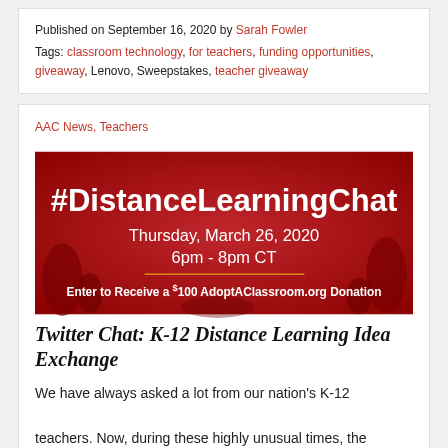Published on September 16, 2020 by Sarah Fowler
Tags: classroom technology, for teachers, funding opportunities, giveaway, Lenovo, Sweepstakes, teacher giveaway
AAC News, Teachers
[Figure (illustration): Red banner image for #DistanceLearningChat Twitter event, Thursday, March 26, 2020, 6pm - 8pm CT. Enter to Receive a $100 AdoptAClassroom.org Donation]
Twitter Chat: K-12 Distance Learning Idea Exchange
We have always asked a lot from our nation's K-12 teachers. Now, during these highly unusual times, the